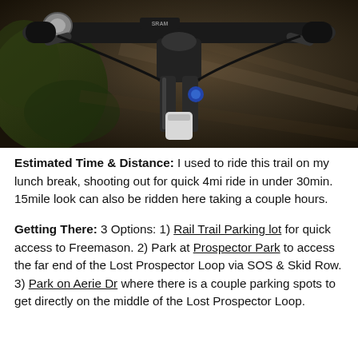[Figure (photo): First-person view of a mountain bike handlebar setup while riding on a dirt trail, with vegetation visible on the left side and motion blur from the speed.]
Estimated Time & Distance: I used to ride this trail on my lunch break, shooting out for quick 4mi ride in under 30min. 15mile look can also be ridden here taking a couple hours.
Getting There: 3 Options: 1) Rail Trail Parking lot for quick access to Freemason. 2) Park at Prospector Park to access the far end of the Lost Prospector Loop via SOS & Skid Row. 3) Park on Aerie Dr where there is a couple parking spots to get directly on the middle of the Lost Prospector Loop.